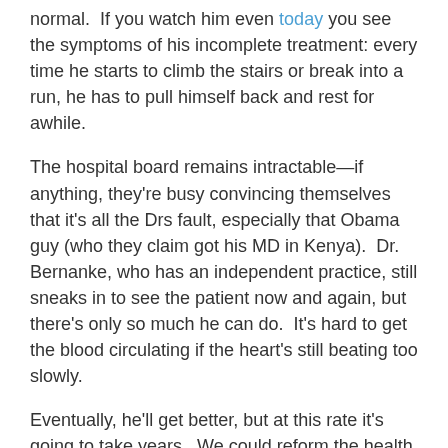normal.  If you watch him even today you see the symptoms of his incomplete treatment: every time he starts to climb the stairs or break into a run, he has to pull himself back and rest for awhile.
The hospital board remains intractable—if anything, they're busy convincing themselves that it's all the Drs fault, especially that Obama guy (who they claim got his MD in Kenya).  Dr. Bernanke, who has an independent practice, still sneaks in to see the patient now and again, but there's only so much he can do.  It's hard to get the blood circulating if the heart's still beating too slowly.
Eventually, he'll get better, but at this rate it's going to take years.  We could reform the health care system, but to do that, we'll need to replace the hospital board.
Facebook  Twitter (share buttons)
Categories: Economic Growth, New Posts, Recession/Stimulus | 4 Comments »
4 comments in reply to "Health Care Economics"